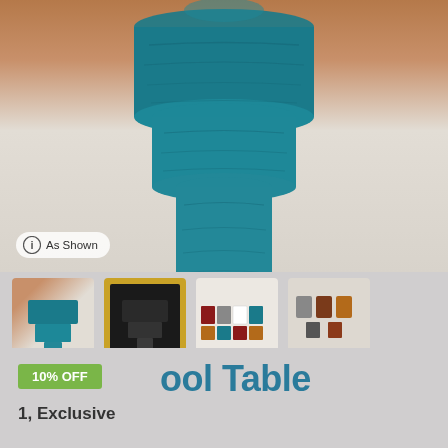[Figure (photo): Main product photo of a teal/blue-green stool or side table with tiered cylindrical wooden construction, shown against a warm tan/beige background. An 'As Shown' badge is visible in the lower left of the image.]
[Figure (photo): Row of four product thumbnail images: first shows the teal stool, second (selected, highlighted with gold border) shows a black version, third shows multiple color variants, fourth shows additional color variants.]
As Shown
ool Table
10% OFF
1, Exclusive